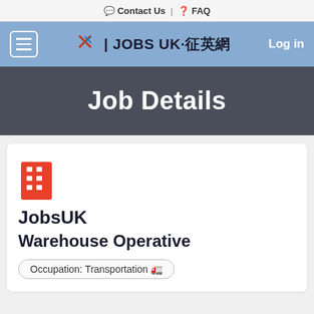Contact Us | FAQ
[Figure (screenshot): Navigation bar with hamburger menu, JOBS UK·征英網 logo, and Log in button on a blue background]
Job Details
[Figure (logo): Red building icon representing JobsUK company]
JobsUK
Warehouse Operative
Occupation: Transportation 🚛